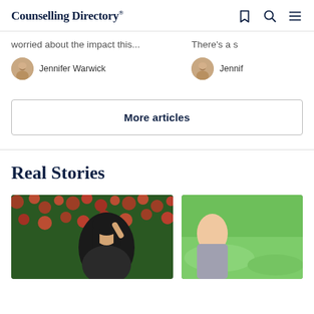Counselling Directory
worried about the impact this...
There's a s
Jennifer Warwick
Jennif
More articles
Real Stories
[Figure (photo): Young Asian woman with dark hair standing in front of red flowering bushes, hand raised near her face]
[Figure (photo): Partial image on right side, person outdoors on green grass, cropped]